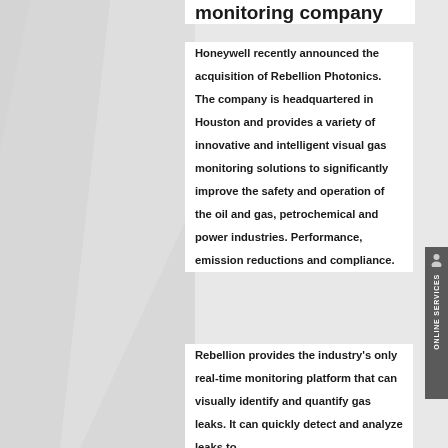monitoring company
Honeywell recently announced the acquisition of Rebellion Photonics. The company is headquartered in Houston and provides a variety of innovative and intelligent visual gas monitoring solutions to significantly improve the safety and operation of the oil and gas, petrochemical and power industries. Performance, emission reductions and compliance.
Rebellion provides the industry's only real-time monitoring platform that can visually identify and quantify gas leaks. It can quickly detect and analyze leaks to